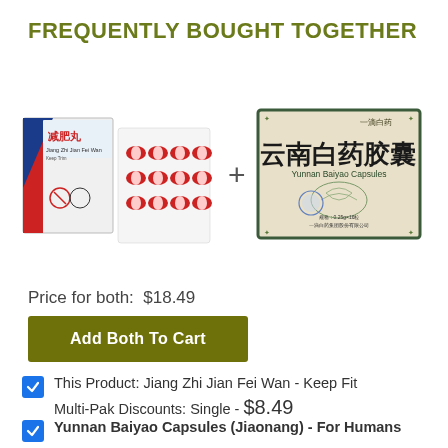FREQUENTLY BOUGHT TOGETHER
[Figure (photo): Two products shown side by side with a plus sign between them: left product is Jiang Zhi Jian Fei Wan (Keep Fit) package with capsules blister pack, right product is Yunnan Baiyao Capsules box.]
Price for both:  $18.49
Add Both To Cart
This Product: Jiang Zhi Jian Fei Wan - Keep Fit Multi-Pak Discounts: Single - $8.49
Yunnan Baiyao Capsules (Jiaonang) - For Humans